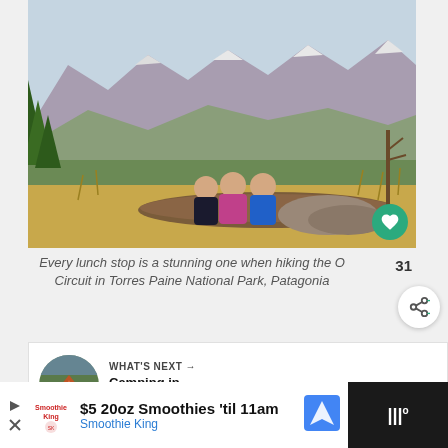[Figure (photo): Three hikers (seen from behind) sitting on a fallen log amid golden grassy meadow, looking out at a mountain range with snow-capped peaks and dense forest below, under a cloudy sky. Torres Paine National Park, Patagonia.]
Every lunch stop is a stunning one when hiking the O Circuit in Torres Paine National Park, Patagonia
31
[Figure (photo): Thumbnail image of camping tent in Torres del Paine]
WHAT'S NEXT → Camping in Torres del...
$5 20oz Smoothies 'til 11am Smoothie King